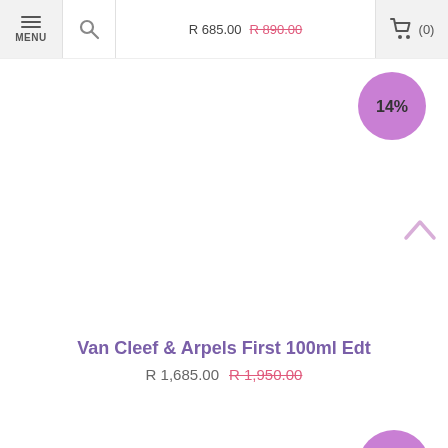R 685.00  R 890.00 (strikethrough)  MENU  Search  Cart (0)
[Figure (other): Purple circular discount badge showing 14%]
[Figure (photo): Product image area (white/empty) for Van Cleef & Arpels First 100ml Edt perfume]
Van Cleef & Arpels First 100ml Edt
R 1,685.00  R 1,950.00
[Figure (other): Partial purple circular discount badge at bottom right corner]